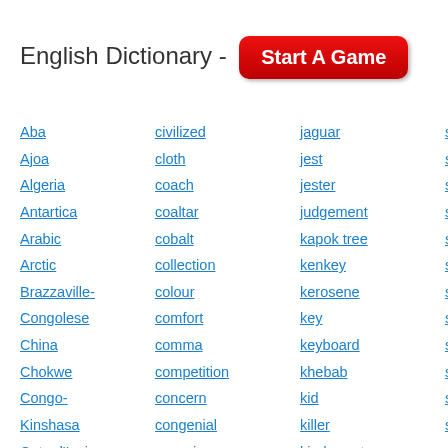English Dictionary - Start A Game
Aba
civilized
jaguar
scrub
Ajoa
cloth
jest
seaborgium
Algeria
coach
jester
sector
Antartica
coaltar
judgement
seduce
Arabic
cobalt
kapok tree
selenium
Arctic
collection
kenkey
selfishness
Brazzaville-
colour
kerosene
sense
Congolese
comfort
key
serve
China
comma
keyboard
sew
Chokwe
competition
khebab
shall
Congo-
concern
kid
shorts
Kinshasa
congenial
killer
should
Cote d'Ivoire
conscience
kindergarten
show ... pity